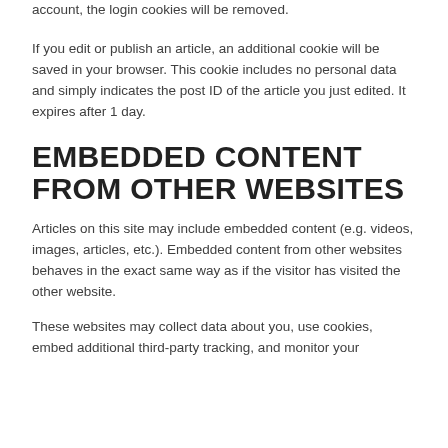account, the login cookies will be removed.
If you edit or publish an article, an additional cookie will be saved in your browser. This cookie includes no personal data and simply indicates the post ID of the article you just edited. It expires after 1 day.
EMBEDDED CONTENT FROM OTHER WEBSITES
Articles on this site may include embedded content (e.g. videos, images, articles, etc.). Embedded content from other websites behaves in the exact same way as if the visitor has visited the other website.
These websites may collect data about you, use cookies, embed additional third-party tracking, and monitor your